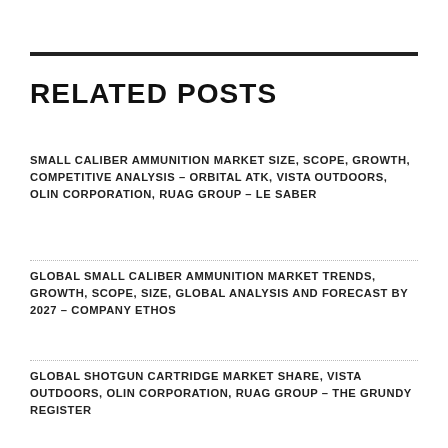RELATED POSTS
SMALL CALIBER AMMUNITION MARKET SIZE, SCOPE, GROWTH, COMPETITIVE ANALYSIS – ORBITAL ATK, VISTA OUTDOORS, OLIN CORPORATION, RUAG GROUP – LE SABER
GLOBAL SMALL CALIBER AMMUNITION MARKET TRENDS, GROWTH, SCOPE, SIZE, GLOBAL ANALYSIS AND FORECAST BY 2027 – COMPANY ETHOS
GLOBAL SHOTGUN CARTRIDGE MARKET SHARE, VISTA OUTDOORS, OLIN CORPORATION, RUAG GROUP – THE GRUNDY REGISTER